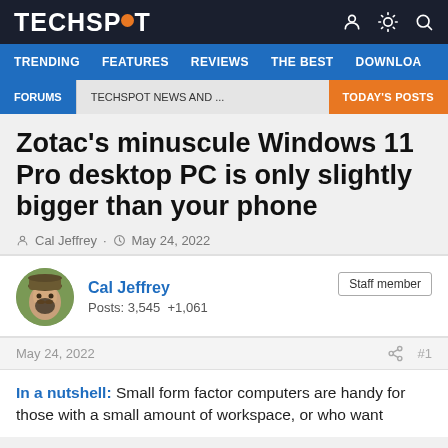TECHSPOT
TRENDING  FEATURES  REVIEWS  THE BEST  DOWNLOA
FORUMS  TECHSPOT NEWS AND ...  TODAY'S POSTS
Zotac's minuscule Windows 11 Pro desktop PC is only slightly bigger than your phone
Cal Jeffrey · May 24, 2022
Cal Jeffrey
Posts: 3,545  +1,061
Staff member
May 24, 2022  #1
In a nutshell: Small form factor computers are handy for those with a small amount of workspace, or who want